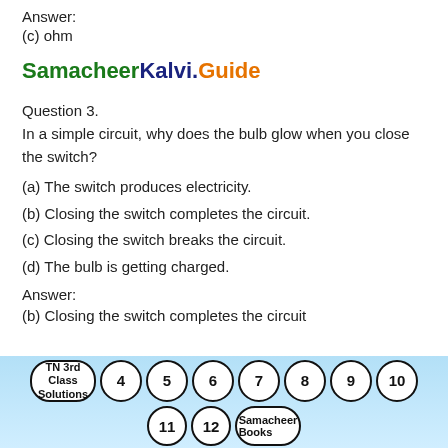Answer:
(c) ohm
SamacheerKalvi.Guide
Question 3.
In a simple circuit, why does the bulb glow when you close the switch?
(a) The switch produces electricity.
(b) Closing the switch completes the circuit.
(c) Closing the switch breaks the circuit.
(d) The bulb is getting charged.
Answer:
(b) Closing the switch completes the circuit
[Figure (other): Navigation footer with circular bubbles: TN 3rd Class Solutions, 4, 5, 6, 7, 8, 9, 10, 11, 12, Samacheer Books on a light blue gradient background.]